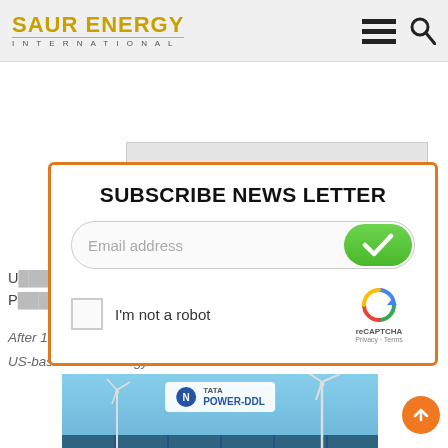SAUR ENERGY INTERNATIONAL
[Figure (screenshot): Newsletter subscription popup overlay on Saur Energy International website with email input, reCAPTCHA, and background article about wave energy. Bottom shows Tata Power-DDL solar farm image.]
U... ve Energy P...
After 10 months of nonstop operation on the coast of San Diego, US-based wave energy...